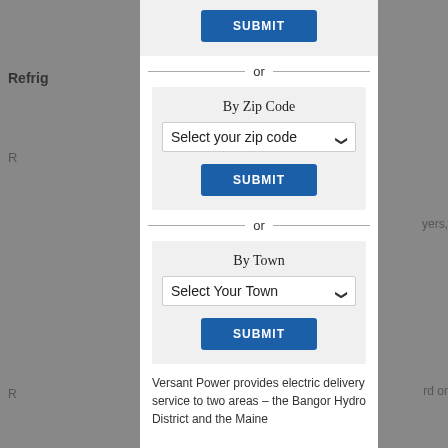[Figure (screenshot): Web form screenshot showing 'Submit' button at top, two search sections separated by 'or' dividers: 'By Zip Code' with dropdown 'Select your zip code' and Submit button, and 'By Town' with dropdown 'Select Your Town' and Submit button.]
Versant Power provides electric delivery service to two areas – the Bangor Hydro District and the Maine Public District.